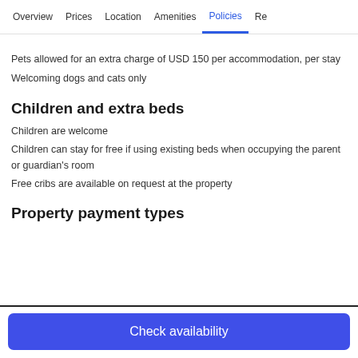Overview | Prices | Location | Amenities | Policies | Re
Pets allowed for an extra charge of USD 150 per accommodation, per stay
Welcoming dogs and cats only
Children and extra beds
Children are welcome
Children can stay for free if using existing beds when occupying the parent or guardian's room
Free cribs are available on request at the property
Property payment types
Check availability